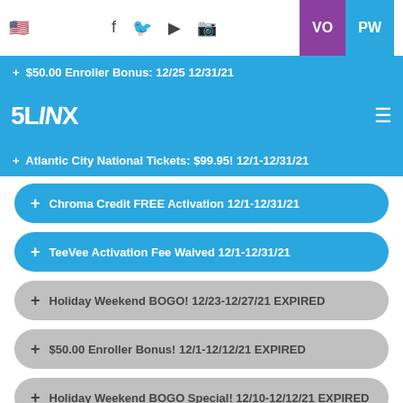VO PW
+ $50.00 Enroller Bonus: 12/25 12/31/21
[Figure (logo): 5LINX logo in white on blue background with hamburger menu icon]
+ Atlantic City National Tickets: $99.95! 12/1-12/31/21
+ Chroma Credit FREE Activation 12/1-12/31/21
+ TeeVee Activation Fee Waived 12/1-12/31/21
+ Holiday Weekend BOGO! 12/23-12/27/21 EXPIRED
+ $50.00 Enroller Bonus! 12/1-12/12/21 EXPIRED
+ Holiday Weekend BOGO Special! 12/10-12/12/21 EXPIRED
+ Pamper Yourself! 12/5-12/8/21 EXPIRED